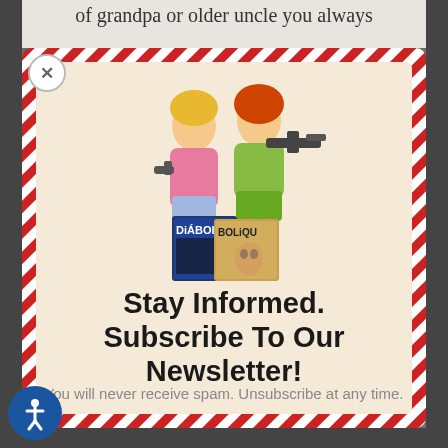of grandpa or older uncle you always
[Figure (illustration): Two illustrated women in retro style holding guns, standing over comic book covers labeled 'Diabo' and 'Boliq']
Stay Informed. Subscribe To Our Newsletter!
You will never receive spam. Unsubscribe at any time.